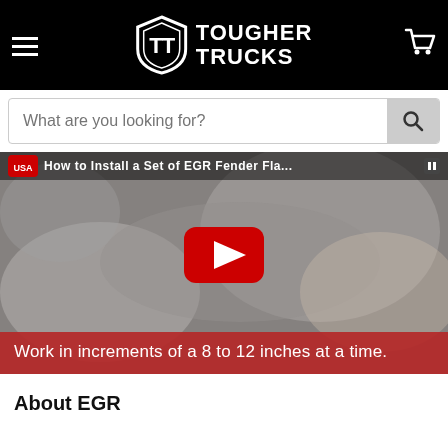[Figure (logo): Tougher Trucks logo with shield emblem and text on black header bar, with hamburger menu and cart icon]
[Figure (screenshot): YouTube video thumbnail showing EGR Fender Flare installation video with red subtitle bar reading 'Work in increments of a 8 to 12 inches at a time.' and YouTube play button overlay]
About EGR